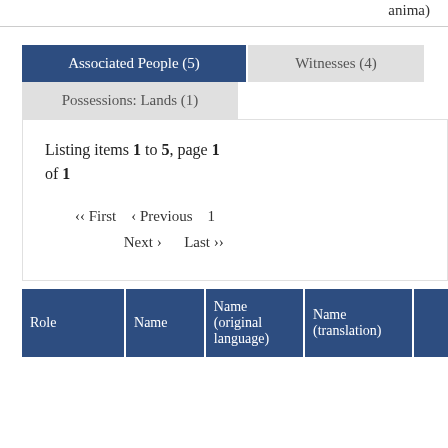anima)
Associated People (5)
Witnesses (4)
Possessions: Lands (1)
Listing items 1 to 5, page 1 of 1
«‹ First   ‹ Previous   1   Next ›   Last ›»
| Role | Name | Name (original language) | Name (translation) |  |
| --- | --- | --- | --- | --- |